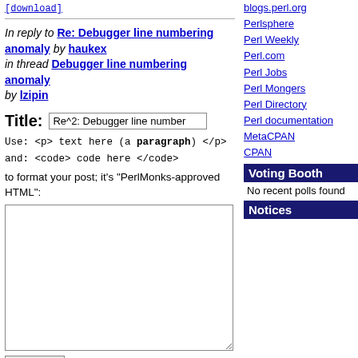[download]
In reply to Re: Debugger line numbering anomaly by haukex
in thread Debugger line numbering anomaly by lzipin
Title: Re^2: Debugger line number
Use: <p> text here (a paragraph) </p>
and: <code> code here </code>
to format your post; it's "PerlMonks-approved HTML":
preview
blogs.perl.org
Perlsphere
Perl Weekly
Perl.com
Perl Jobs
Perl Mongers
Perl Directory
Perl documentation
MetaCPAN
CPAN
Voting Booth
No recent polls found
Notices